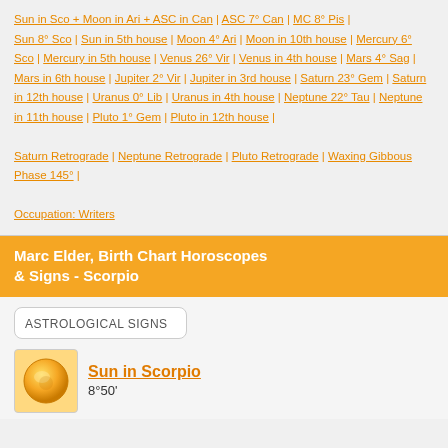Sun in Sco + Moon in Ari + ASC in Can | ASC 7° Can | MC 8° Pis | Sun 8° Sco | Sun in 5th house | Moon 4° Ari | Moon in 10th house | Mercury 6° Sco | Mercury in 5th house | Venus 26° Vir | Venus in 4th house | Mars 4° Sag | Mars in 6th house | Jupiter 2° Vir | Jupiter in 3rd house | Saturn 23° Gem | Saturn in 12th house | Uranus 0° Lib | Uranus in 4th house | Neptune 22° Tau | Neptune in 11th house | Pluto 1° Gem | Pluto in 12th house | Saturn Retrograde | Neptune Retrograde | Pluto Retrograde | Waxing Gibbous Phase 145° | Occupation: Writers
Marc Elder, Birth Chart Horoscopes & Signs - Scorpio
ASTROLOGICAL SIGNS
[Figure (illustration): Sun icon - golden orb illustration for Sun in Scorpio]
Sun in Scorpio 8°50'